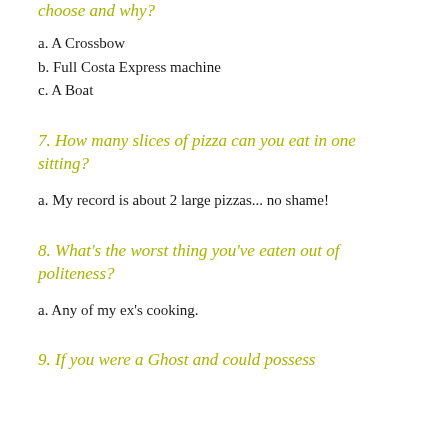choose and why?
a. A Crossbow
b. Full Costa Express machine
c. A Boat
7. How many slices of pizza can you eat in one sitting?
a. My record is about 2 large pizzas... no shame!
8. What's the worst thing you've eaten out of politeness?
a. Any of my ex's cooking.
9. If you were a Ghost and could possess